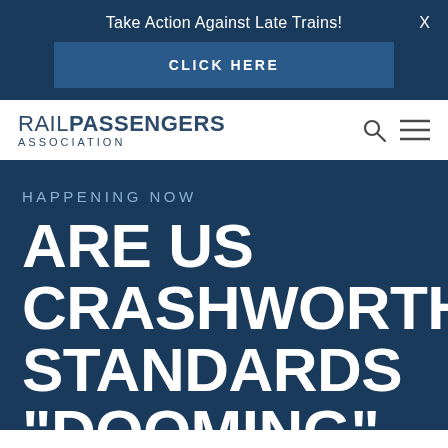Take Action Against Late Trains!
CLICK HERE
[Figure (logo): Rail Passengers Association logo with search and hamburger menu icons]
HAPPENING NOW
ARE US CRASHWORTHINESS STANDARDS "DOOMING" PASSENGER